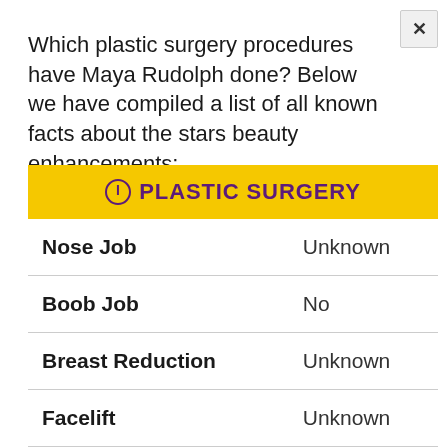Which plastic surgery procedures have Maya Rudolph done? Below we have compiled a list of all known facts about the stars beauty enhancements:
| ⓘ PLASTIC SURGERY |  |
| --- | --- |
| Nose Job | Unknown |
| Boob Job | No |
| Breast Reduction | Unknown |
| Facelift | Unknown |
| Lips | Unknown |